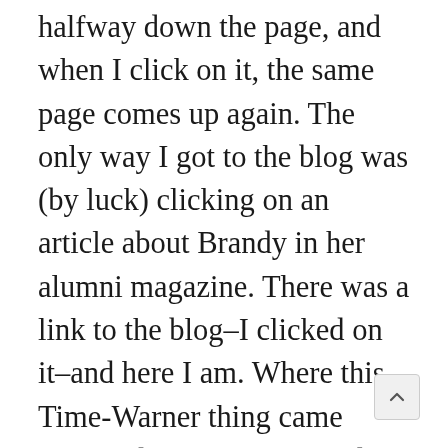halfway down the page, and when I click on it, the same page comes up again. The only way I got to the blog was (by luck) clicking on an article about Brandy in her alumni magazine. There was a link to the blog–I clicked on it–and here I am. Where this Time-Warner thing came from, I don't know. I couldn't find anything in the Windows control panel to delete. I think it is probably a plug-in or extension, but I can't find Tools on the Google page. (I think they have changed the Google home